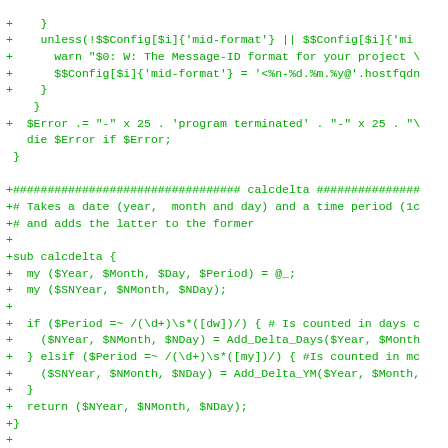[Figure (screenshot): Code diff screenshot showing Perl source code additions (lines prefixed with +) in green monospace font on white background. Contains calcdelta and updatestatus subroutine definitions.]